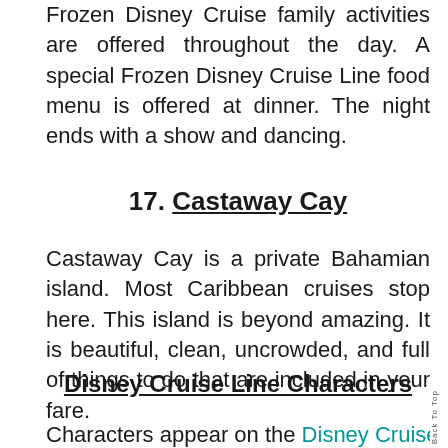Frozen Disney Cruise family activities are offered throughout the day. A special Frozen Disney Cruise Line food menu is offered at dinner. The night ends with a show and dancing.
17. Castaway Cay
Castaway Cay is a private Bahamian island. Most Caribbean cruises stop here. This island is beyond amazing. It is beautiful, clean, uncrowded, and full of things to do that are included in your fare.
Disney Cruise Line Characters
Characters appear on the Disney Cruise